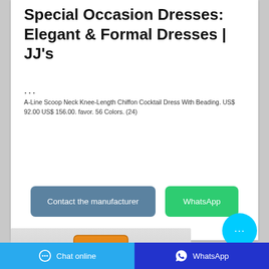Special Occasion Dresses: Elegant & Formal Dresses | JJ's
... A-Line Scoop Neck Knee-Length Chiffon Cocktail Dress With Beading. US$ 92.00 US$ 156.00. favor. 56 Colors. (24)
[Figure (screenshot): Two buttons: 'Contact the manufacturer' (blue-grey) and 'WhatsApp' (green), and a cyan chat bubble icon with ellipsis]
[Figure (photo): Partial image of an orange bag/package on grey background]
Chat online   WhatsApp